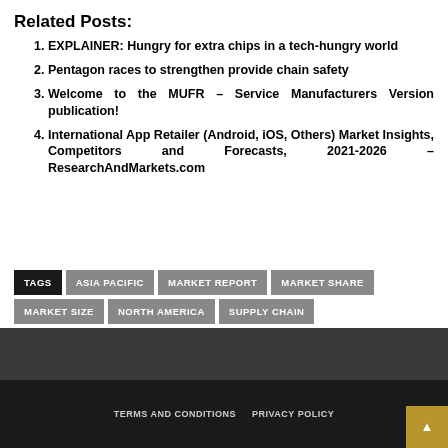Related Posts:
EXPLAINER: Hungry for extra chips in a tech-hungry world
Pentagon races to strengthen provide chain safety
Welcome to the MUFR – Service Manufacturers Version publication!
International App Retailer (Android, iOS, Others) Market Insights, Competitors and Forecasts, 2021-2026 – ResearchAndMarkets.com
TAGS  ASIA PACIFIC  MARKET REPORT  MARKET SHARE  MARKET SIZE  NORTH AMERICA  SUPPLY CHAIN
TERMS AND CONDITIONS  PRIVACY POLICY